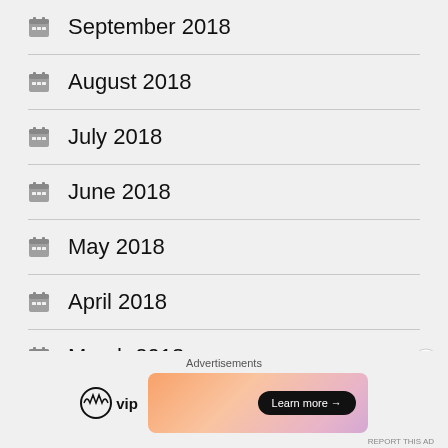September 2018
August 2018
July 2018
June 2018
May 2018
April 2018
March 2018
February 2018
Advertisements
[Figure (logo): WordPress VIP logo and advertisement banner with Learn more button]